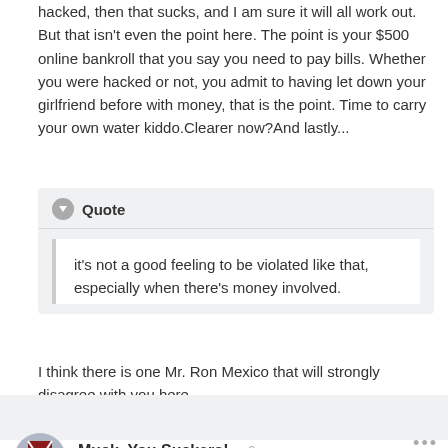hacked, then that sucks, and I am sure it will all work out. But that isn't even the point here. The point is your $500 online bankroll that you say you need to pay bills. Whether you were hacked or not, you admit to having let down your girlfriend before with money, that is the point. Time to carry your own water kiddo.Clearer now?And lastly...
Quote
it's not a good feeling to be violated like that, especially when there's money involved.
I think there is one Mr. Ron Mexico that will strongly disagree with you here.
Muck, You Suckers!
Posted April 14, 2007
Why are you always letting her down? And, why is it never your fault? Are you controlled by space aliens that implanted a device